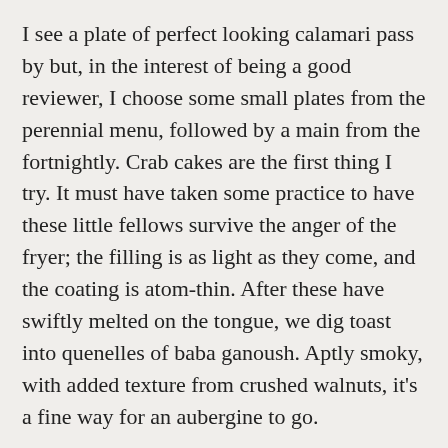I see a plate of perfect looking calamari pass by but, in the interest of being a good reviewer, I choose some small plates from the perennial menu, followed by a main from the fortnightly. Crab cakes are the first thing I try. It must have taken some practice to have these little fellows survive the anger of the fryer; the filling is as light as they come, and the coating is atom-thin. After these have swiftly melted on the tongue, we dig toast into quenelles of baba ganoush. Aptly smoky, with added texture from crushed walnuts, it's a fine way for an aubergine to go.
The cooking so far is good, but I want to see how well this place sources its ingredients.With this in mind, out comes the platter of salami, chorizo and Spanish ham. The meat is moist from patterns of fat, and it was good to see TK at the bar carving the ham from a